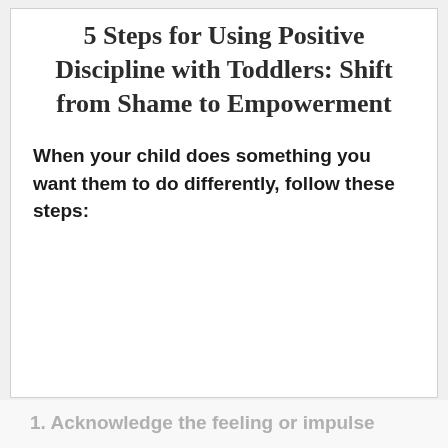5 Steps for Using Positive Discipline with Toddlers: Shift from Shame to Empowerment
When your child does something you want them to do differently, follow these steps:
1. Acknowledge the feeling or impulse